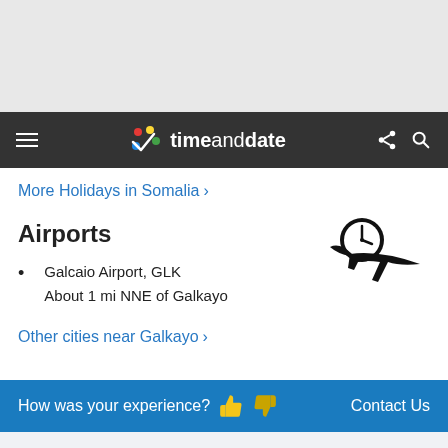timeanddate navigation bar
More Holidays in Somalia >
Airports
[Figure (illustration): Airplane with clock icon, black silhouette facing right]
Galcaio Airport, GLK
About 1 mi NNE of Galkayo
Other cities near Galkayo >
How was your experience? 👍 👎   Contact Us
Company
Services
About us
World Clock